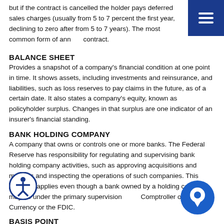but if the contract is cancelled the holder pays deferred sales charges (usually from 5 to 7 percent the first year, declining to zero after from 5 to 7 years). The most common form of annuity contract.
BALANCE SHEET
Provides a snapshot of a company's financial condition at one point in time. It shows assets, including investments and reinsurance, and liabilities, such as loss reserves to pay claims in the future, as of a certain date. It also states a company's equity, known as policyholder surplus. Changes in that surplus are one indicator of an insurer's financial standing.
BANK HOLDING COMPANY
A company that owns or controls one or more banks. The Federal Reserve has responsibility for regulating and supervising bank holding company activities, such as approving acquisitions and mergers and inspecting the operations of such companies. This authority applies even though a bank owned by a holding company may be under the primary supervision of the Comptroller of the Currency or the FDIC.
BASIS POINT
0.01 percent of the yield of a mortgage, bond or note. The